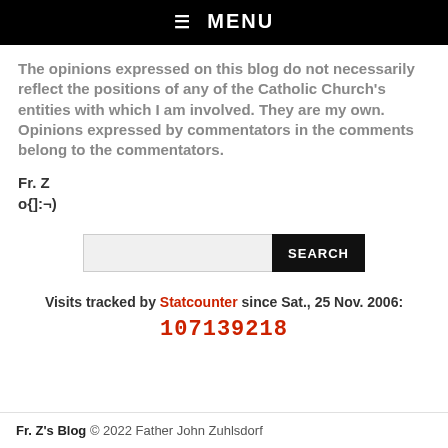☰ MENU
The opinions expressed on this blog do not necessarily reflect the positions of any of the Catholic Church's entities with which I am involved. They are my own. Opinions expressed by commentators in the comments belong to the commentators.
Fr. Z
o{]:¬)
Visits tracked by Statcounter since Sat., 25 Nov. 2006: 107139218
Fr. Z's Blog © 2022 Father John Zuhlsdorf